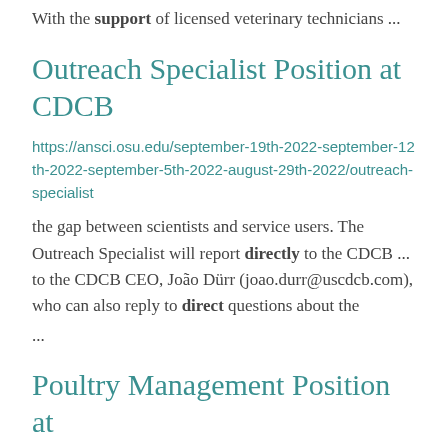With the support of licensed veterinary technicians ...
Outreach Specialist Position at CDCB
https://ansci.osu.edu/september-19th-2022-september-12th-2022-september-5th-2022-august-29th-2022/outreach-specialist
the gap between scientists and service users. The Outreach Specialist will report directly to the CDCB ... to the CDCB CEO, João Dürr (joao.durr@uscdcb.com), who can also reply to direct questions about the ...
Poultry Management Position at